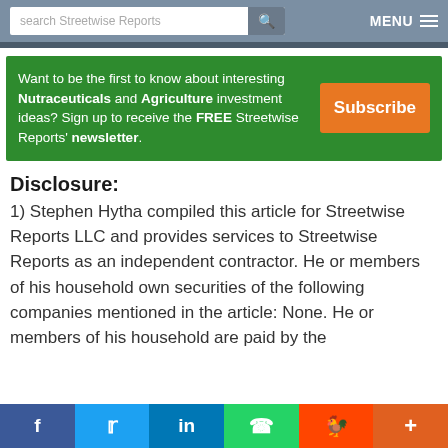search Streetwise Reports   MENU
Want to be the first to know about interesting Nutraceuticals and Agriculture investment ideas? Sign up to receive the FREE Streetwise Reports' newsletter.   Subscribe
Disclosure:
1) Stephen Hytha compiled this article for Streetwise Reports LLC and provides services to Streetwise Reports as an independent contractor. He or members of his household own securities of the following companies mentioned in the article: None. He or members of his household are paid by the
f  Twitter  in  WhatsApp  Reddit  +